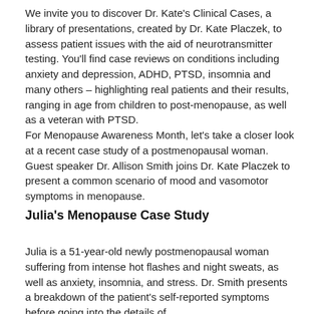We invite you to discover Dr. Kate's Clinical Cases, a library of presentations, created by Dr. Kate Placzek, to assess patient issues with the aid of neurotransmitter testing. You'll find case reviews on conditions including anxiety and depression, ADHD, PTSD, insomnia and many others – highlighting real patients and their results, ranging in age from children to post-menopause, as well as a veteran with PTSD. For Menopause Awareness Month, let's take a closer look at a recent case study of a postmenopausal woman. Guest speaker Dr. Allison Smith joins Dr. Kate Placzek to present a common scenario of mood and vasomotor symptoms in menopause.
Julia's Menopause Case Study
Julia is a 51-year-old newly postmenopausal woman suffering from intense hot flashes and night sweats, as well as anxiety, insomnia, and stress. Dr. Smith presents a breakdown of the patient's self-reported symptoms before going into the details of